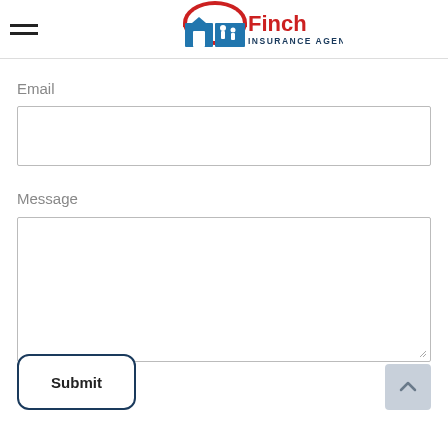[Figure (logo): Finch Insurance Agency logo with red umbrella, blue house/family icon, and red/navy text]
Email
Message
Submit